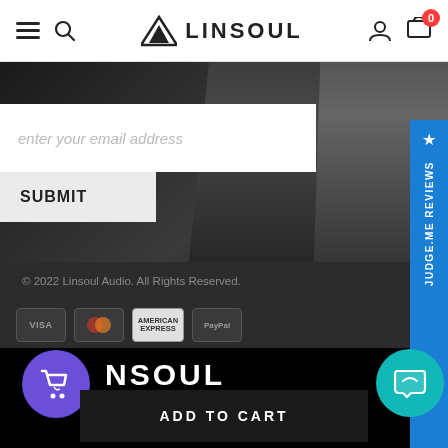LINSOUL — navigation header with hamburger menu, search, logo, user icon, cart (0)
[Figure (screenshot): Hero background image showing dark smoky hands/crowd scene in black and white]
enter your email address
SUBMIT
[Figure (other): JUDGE.ME REVIEWS vertical sidebar widget in blue]
© 2022 Linsoul Audio. All Rights Reserved.
[Figure (other): Payment icons: VISA, Mastercard, American Express, PayPal]
LINSOUL
ADD TO CART